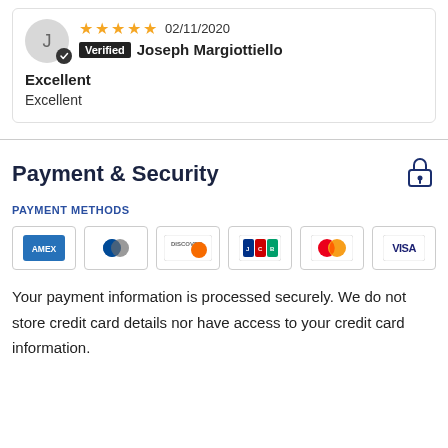[Figure (other): User avatar circle with letter J and verified checkmark badge]
★★★★★ 02/11/2020
Verified Joseph Margiottiello
Excellent
Excellent
Payment & Security
PAYMENT METHODS
[Figure (other): Payment method card logos: AMEX, Diners Club, Discover, JCB, Mastercard, Visa]
Your payment information is processed securely. We do not store credit card details nor have access to your credit card information.